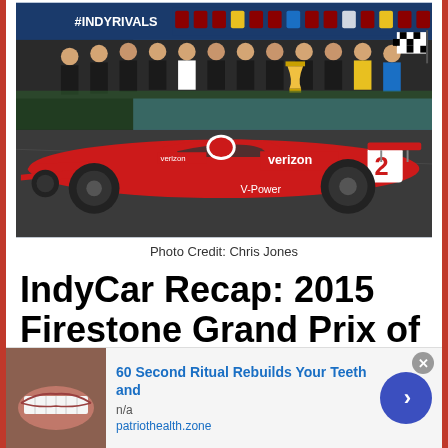[Figure (photo): Group photo of IndyCar racing team posing behind a red Verizon V-Power IndyCar #2. Background shows #INDYRIVALS banner. Team members in racing suits, some holding trophy and checkered flags.]
Photo Credit: Chris Jones
IndyCar Recap: 2015 Firestone Grand Prix of St. Petersburg
March 30, 2015 By
[Figure (photo): Advertisement banner: smiling mouth/teeth photo on left. Text reads '60 Second Ritual Rebuilds Your Teeth and' in blue, 'n/a', 'patriothealth.zone' in blue. Blue circle arrow button on right. Close (x) button top right.]